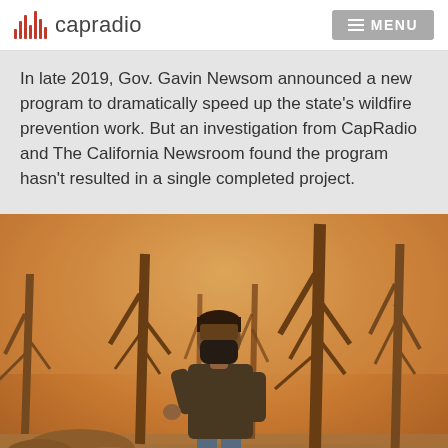capradio  MENU
In late 2019, Gov. Gavin Newsom announced a new program to dramatically speed up the state's wildfire prevention work. But an investigation from CapRadio and The California Newsroom found the program hasn't resulted in a single completed project.
[Figure (photo): A man wearing a black face mask stands amid smoke-filled, hazy orange-tinted forest with bare, charred trees. He is dressed in a dark jacket and jeans, standing on rocky/dusty ground. The scene depicts a wildfire-affected landscape.]